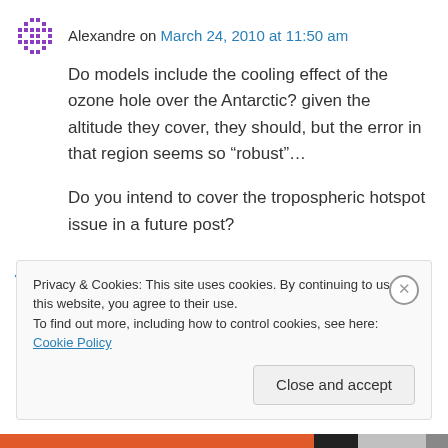Alexandre on March 24, 2010 at 11:50 am
Do models include the cooling effect of the ozone hole over the Antarctic? given the altitude they cover, they should, but the error in that region seems so “robust”…
Do you intend to cover the tropospheric hotspot issue in a future post?
↵ Reply
Privacy & Cookies: This site uses cookies. By continuing to use this website, you agree to their use.
To find out more, including how to control cookies, see here: Cookie Policy
Close and accept